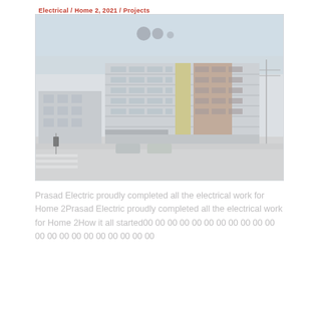Electrical / Home 2, 2021 / Projects
[Figure (photo): Exterior photograph of a multi-story commercial/hotel building with a modern facade featuring horizontal bands of windows, brick cladding, and yellow accent panels. Street intersection visible in foreground.]
Prasad Electric proudly completed all the electrical work for Home 2Prasad Electric proudly completed all the electrical work for Home 2How it all started00 00 00 00 00 00 00 00 00 00 00 00 00 00 00 00 00 00 00 00 00